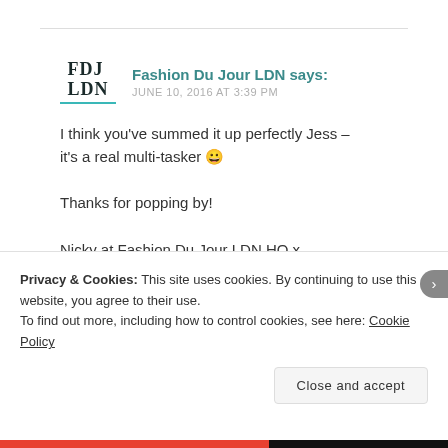Fashion Du Jour LDN says:
JUNE 10, 2016 AT 3:39 PM
I think you've summed it up perfectly Jess – it's a real multi-tasker 😀

Thanks for popping by!

Nicky at Fashion Du Jour LDN HQ x
Privacy & Cookies: This site uses cookies. By continuing to use this website, you agree to their use.
To find out more, including how to control cookies, see here: Cookie Policy
Close and accept